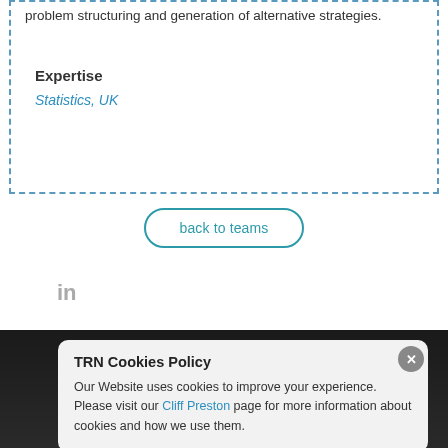problem structuring and generation of alternative strategies.
Expertise
Statistics, UK
back to teams
TRN Cookies Policy
Our Website uses cookies to improve your experience. Please visit our Cliff Preston page for more information about cookies and how we use them.